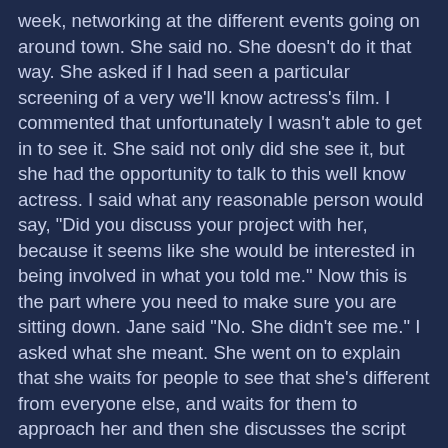week, networking at the different events going on around town. She said no. She doesn't do it that way. She asked if I had seen a particular screening of a very we'll know actress's film. I commented that unfortunately I wasn't able to get in to see it. She said not only did she see it, but she had the opportunity to talk to this well know actress. I said what any reasonable person would say, "Did you discuss your project with her, because it seems like she would be interested in being involved in what you told me." Now this is the part where you need to make sure you are sitting down. Jane said "No. She didn't see me." I asked what she meant. She went on to explain that she waits for people to see that she's different from everyone else, and waits for them to approach her and then she discusses the script she is trying to make into a movie and her need for funding. She then went on to tell me this was the second time she'd been within conversation distance with this actress. Neither time did she say anything. I had no words. Thankfully I have words now. Before you judge her too harshly, have a care for your own glass house. Have you had a dream you wanted to pursue so badly and God brings the opportunity for you to do so and you remained silent? Pursing a dream is active. Being that this was an opportunity to act was good but t...